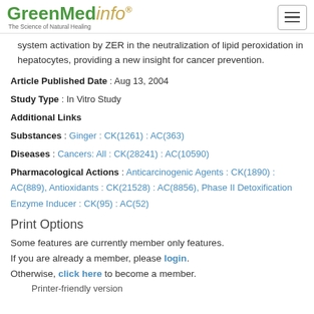GreenMedinfo - The Science of Natural Healing
system activation by ZER in the neutralization of lipid peroxidation in hepatocytes, providing a new insight for cancer prevention.
Article Published Date : Aug 13, 2004
Study Type : In Vitro Study
Additional Links
Substances : Ginger : CK(1261) : AC(363)
Diseases : Cancers: All : CK(28241) : AC(10590)
Pharmacological Actions : Anticarcinogenic Agents : CK(1890) : AC(889), Antioxidants : CK(21528) : AC(8856), Phase II Detoxification Enzyme Inducer : CK(95) : AC(52)
Print Options
Some features are currently member only features. If you are already a member, please login. Otherwise, click here to become a member.
Printer-friendly version